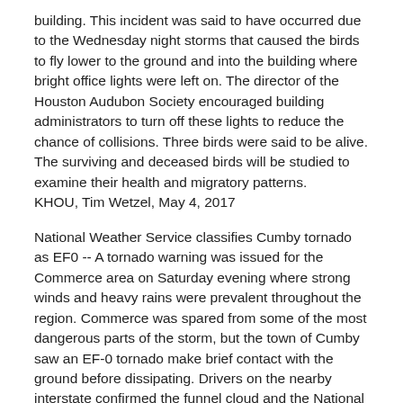building. This incident was said to have occurred due to the Wednesday night storms that caused the birds to fly lower to the ground and into the building where bright office lights were left on. The director of the Houston Audubon Society encouraged building administrators to turn off these lights to reduce the chance of collisions. Three birds were said to be alive. The surviving and deceased birds will be studied to examine their health and migratory patterns.
KHOU, Tim Wetzel, May 4, 2017
National Weather Service classifies Cumby tornado as EF0 -- A tornado warning was issued for the Commerce area on Saturday evening where strong winds and heavy rains were prevalent throughout the region. Commerce was spared from some of the most dangerous parts of the storm, but the town of Cumby saw an EF-0 tornado make brief contact with the ground before dissipating. Drivers on the nearby interstate confirmed the funnel cloud and the National Weather Service provided the rating. Homes and farms on the edge of the city limits received significant damage, though no deaths or injuries were reported.
The Commerce Journal, Ryan Scott, May 4, 2017